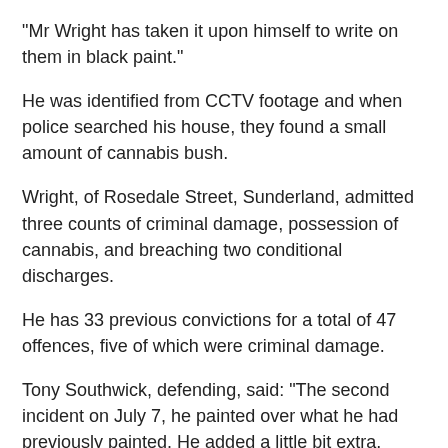“Mr Wright has taken it upon himself to write on them in black paint.”
He was identified from CCTV footage and when police searched his house, they found a small amount of cannabis bush.
Wright, of Rosedale Street, Sunderland, admitted three counts of criminal damage, possession of cannabis, and breaching two conditional discharges.
He has 33 previous convictions for a total of 47 offences, five of which were criminal damage.
Tony Southwick, defending, said: “The second incident on July 7, he painted over what he had previously painted. He added a little bit extra.